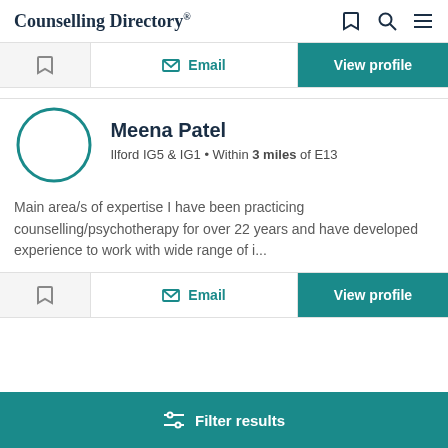Counselling Directory®
[Figure (screenshot): Action row with bookmark icon, Email button, and View profile button (teal)]
[Figure (illustration): Circular avatar placeholder for Meena Patel with teal border]
Meena Patel
Ilford IG5 & IG1 • Within 3 miles of E13
Main area/s of expertise I have been practicing counselling/psychotherapy for over 22 years and have developed experience to work with wide range of i...
[Figure (screenshot): Second action row with bookmark icon, Email button, and View profile button (teal)]
[Figure (screenshot): Filter results teal button at bottom of page]